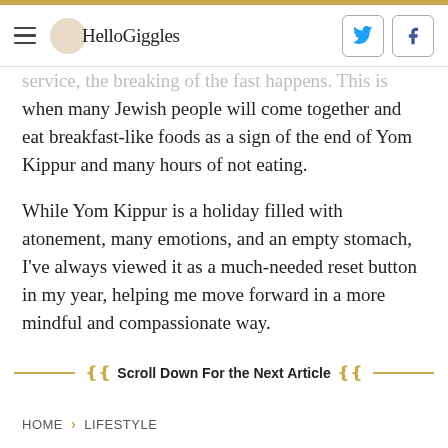HelloGiggles
service, the breaking of the fast happens. This is when many Jewish people will come together and eat breakfast-like foods as a sign of the end of Yom Kippur and many hours of not eating.
While Yom Kippur is a holiday filled with atonement, many emotions, and an empty stomach, I've always viewed it as a much-needed reset button in my year, helping me move forward in a more mindful and compassionate way.
Scroll Down For the Next Article
HOME > LIFESTYLE